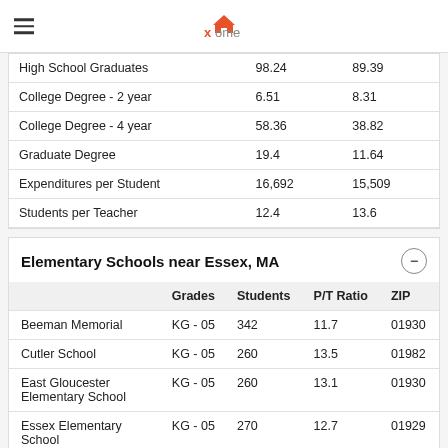xome
|  |  |  |
| --- | --- | --- |
| High School Graduates | 98.24 | 89.39 |
| College Degree - 2 year | 6.51 | 8.31 |
| College Degree - 4 year | 58.36 | 38.82 |
| Graduate Degree | 19.4 | 11.64 |
| Expenditures per Student | 16,692 | 15,509 |
| Students per Teacher | 12.4 | 13.6 |
Elementary Schools near Essex, MA
|  | Grades | Students | P/T Ratio | ZIP |
| --- | --- | --- | --- | --- |
| Beeman Memorial | KG - 05 | 342 | 11.7 | 01930 |
| Cutler School | KG - 05 | 260 | 13.5 | 01982 |
| East Gloucester Elementary School | KG - 05 | 260 | 13.1 | 01930 |
| Essex Elementary School | KG - 05 | 270 | 12.7 | 01929 |